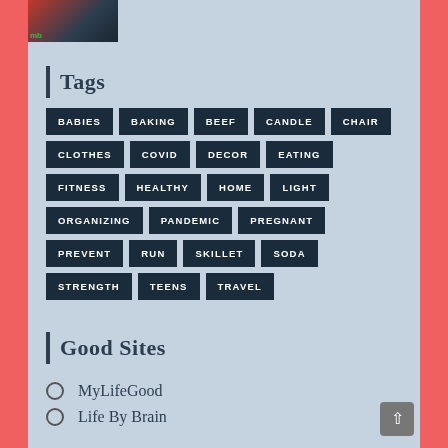[Figure (photo): Partial thumbnail image at top left showing a dark background with red and navy colors, with a small green 'mb' label at bottom left]
Tags
BABIES
BAKING
BEEF
CANDLE
CHAIR
CLOTHES
COVID
DECOR
EATING
FITNESS
HEALTHY
HOME
LIGHT
ORGANIZING
PANDEMIC
PREGNANT
PREVENT
RUN
SKILLET
SODA
STRENGTH
TEENS
TRAVEL
Good Sites
MyLifeGood
Life By Brain